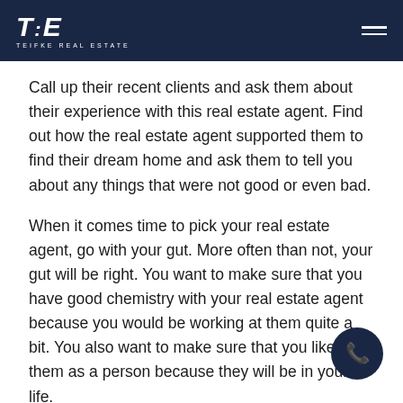TRE TEIFKE REAL ESTATE
Call up their recent clients and ask them about their experience with this real estate agent. Find out how the real estate agent supported them to find their dream home and ask them to tell you about any things that were not good or even bad.
When it comes time to pick your real estate agent, go with your gut. More often than not, your gut will be right. You want to make sure that you have good chemistry with your real estate agent because you would be working at them quite a bit. You also want to make sure that you like them as a person because they will be in your life.
Regardless of how much you trust your real estate agent, you need to check your contract. Not only check it once but